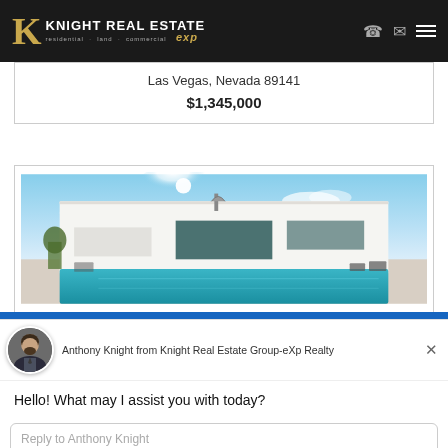KNIGHT REAL ESTATE residential · land · commercial exp
Las Vegas, Nevada 89141
$1,345,000
[Figure (photo): Modern luxury home exterior with pool, bright blue sky, flat white facade, outdoor seating area]
Anthony Knight from Knight Real Estate Group-eXp Realty
Hello! What may I assist you with today?
Reply to Anthony Knight
Chat ⚡ by Drift